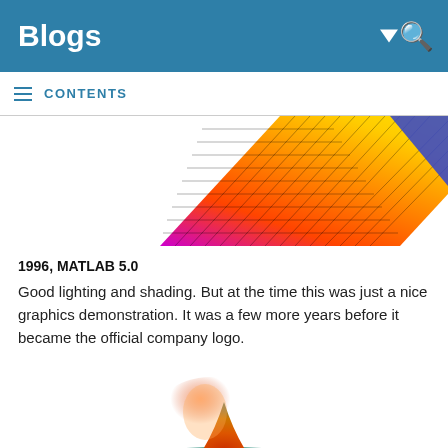Blogs
CONTENTS
[Figure (illustration): Top portion of a MATLAB 3D mesh surface plot showing a colorful grid surface (rainbow-colored from magenta/pink at bottom to yellow/orange at top) partially visible, cropped at the top of the content area. A blue triangular shape is visible at the top right.]
1996, MATLAB 5.0
Good lighting and shading. But at the time this was just a nice graphics demonstration. It was a few more years before it became the official company logo.
[Figure (illustration): Bottom portion of a MATLAB 3D surface plot (peaks function) showing a smooth surface with lighting, colored with red/orange at the top peak and teal/cyan at the base, rendered with smooth shading. The image is cropped showing only the upper portion of the surface.]